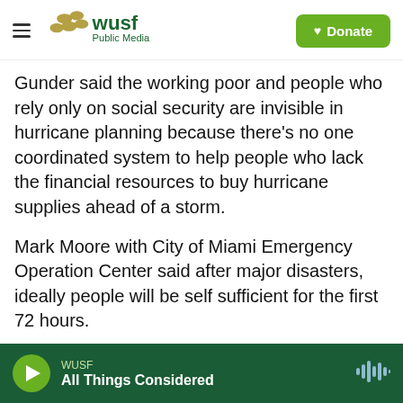[Figure (logo): WUSF Public Media logo with hamburger menu on the left and a green Donate button on the right]
Gunder said the working poor and people who rely only on social security are invisible in hurricane planning because there’s no one coordinated system to help people who lack the financial resources to buy hurricane supplies ahead of a storm.
Mark Moore with City of Miami Emergency Operation Center said after major disasters, ideally people will be self sufficient for the first 72 hours.
“Do not depend on your government for help,” he said. “The government has their hands full during
WUSF — All Things Considered